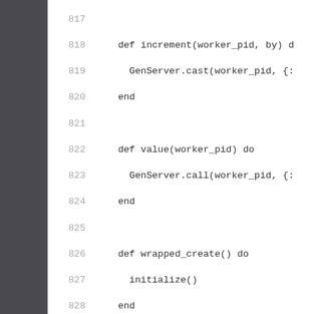[Figure (screenshot): Code listing showing Elixir source code, lines 817-838, on a white background with gray gutters. Code includes increment/1, value/1, wrapped_create/0 function definitions, and a defmodule Worker block with use GenServer, start_link/1, and init/1.]